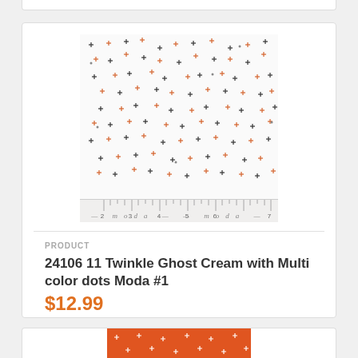[Figure (photo): Fabric swatch showing cream/white background with small multicolor (orange and black) cross/dot pattern, with a ruler along the bottom edge showing measurements 2-7, and 'moda' branding text]
PRODUCT
24106 11 Twinkle Ghost Cream with Multi color dots Moda #1
$12.99
[Figure (photo): Partial view of orange fabric with small white cross/dot pattern]